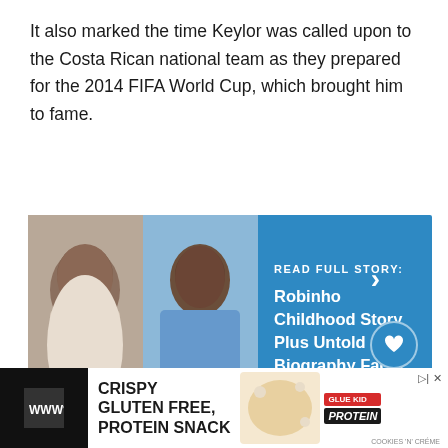It also marked the time Keylor was called upon to the Costa Rican national team as they prepared for the 2014 FIFA World Cup, which brought him to fame.
[Figure (infographic): A promotional banner with two photos of Robinho (childhood and adult in Manchester City kit) on a blue background with text 'READ FULL STORY: Robinho Childhood Story Plus Untold Biography Facts' and navigation arrows, heart icon, and share count '1']
Keylor became one of the tournament's best goalkeepers thanks to a string of stunning bird-style saves.
[Figure (infographic): A share icon widget and a 'WHAT'S NEXT' promo showing Erik Lamela Childhood...]
[Figure (infographic): Advertisement banner at the bottom: CRISPY GLUTEN FREE, PROTEIN SNACK with an image of a snack bar and branding]